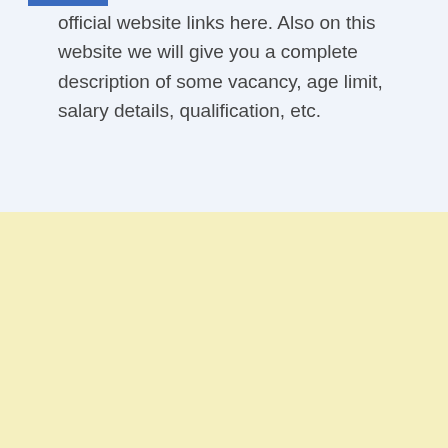official website links here. Also on this website we will give you a complete description of some vacancy, age limit, salary details, qualification, etc.
[Figure (other): Scroll-to-top button: a square with a blue border containing a filled blue upward-pointing triangle arrow, positioned in the lower-right area of the yellow section.]